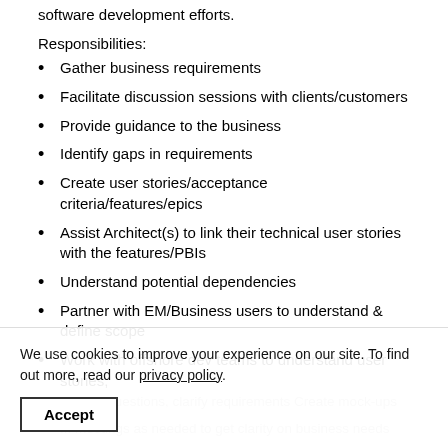software development efforts.
Responsibilities:
Gather business requirements
Facilitate discussion sessions with clients/customers
Provide guidance to the business
Identify gaps in requirements
Create user stories/acceptance criteria/features/epics
Assist Architect(s) to link their technical user stories with the features/PBIs
Understand potential dependencies
Partner with EM/Business users to understand & define scope
Work with offshore dev teams to understand user stories, answer questions, clarify requirements Create mock-ups
... meetings as needed to get clarity on business needs
Review user stories with Architect, QA, and PM Etc.
We use cookies to improve your experience on our site. To find out more, read our privacy policy.